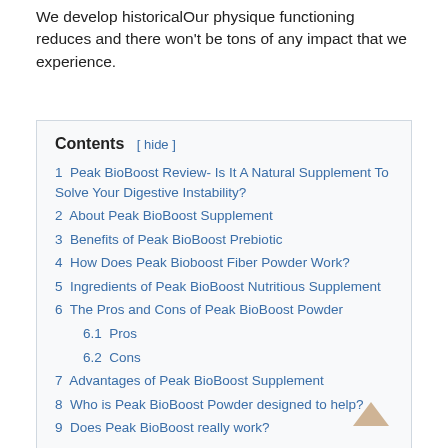We develop historicalOur physique functioning reduces and there won't be tons of any impact that we experience.
Contents [ hide ]
1 Peak BioBoost Review- Is It A Natural Supplement To Solve Your Digestive Instability?
2 About Peak BioBoost Supplement
3 Benefits of Peak BioBoost Prebiotic
4 How Does Peak Bioboost Fiber Powder Work?
5 Ingredients of Peak BioBoost Nutritious Supplement
6 The Pros and Cons of Peak BioBoost Powder
6.1 Pros
6.2 Cons
7 Advantages of Peak BioBoost Supplement
8 Who is Peak BioBoost Powder designed to help?
9 Does Peak BioBoost really work?